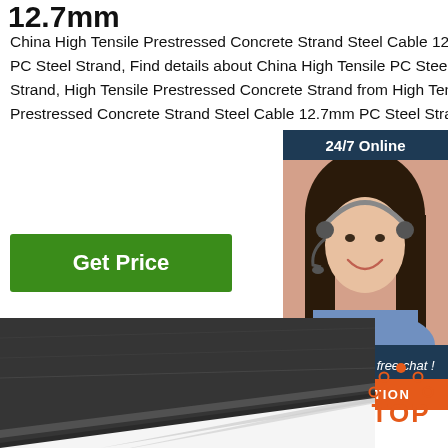12.7mm
China High Tensile Prestressed Concrete Strand Steel Cable 12.7mm PC Steel Strand, Find details about China High Tensile PC Steel Strand, High Tensile Prestressed Concrete Strand from High Tensile Prestressed Concrete Strand Steel Cable 12.7mm PC Steel Strand - ...
[Figure (screenshot): Green 'Get Price' button]
[Figure (screenshot): 24/7 Online chat widget with a photo of a woman wearing a headset, 'Click here for free chat!' text, and orange QUOTATION button]
[Figure (photo): Close-up photo of a dark steel cable/strand product at an angle on white background]
[Figure (logo): TOP badge with orange dots arranged in an arc above the word TOP in orange]